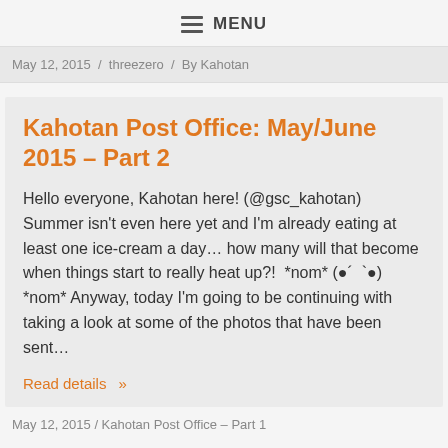≡ MENU
May 12, 2015  /  threezero  /  By Kahotan
Kahotan Post Office: May/June 2015 – Part 2
Hello everyone, Kahotan here! (@gsc_kahotan) Summer isn't even here yet and I'm already eating at least one ice-cream a day... how many will that become when things start to really heat up?!  *nom* (●´  `●) *nom* Anyway, today I'm going to be continuing with taking a look at some of the photos that have been sent...
Read details »
May 12, 2015 / Kahotan Post Office – Part 1